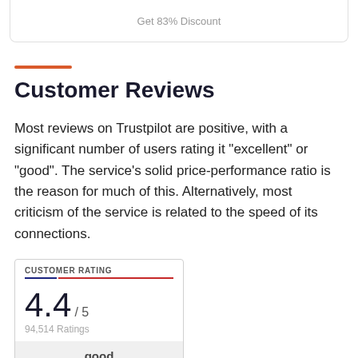Get 83% Discount
Customer Reviews
Most reviews on Trustpilot are positive, with a significant number of users rating it "excellent" or "good". The service's solid price-performance ratio is the reason for much of this. Alternatively, most criticism of the service is related to the speed of its connections.
| CUSTOMER RATING |
| --- |
| 4.4 / 5 |
| 94,514 Ratings |
| good |